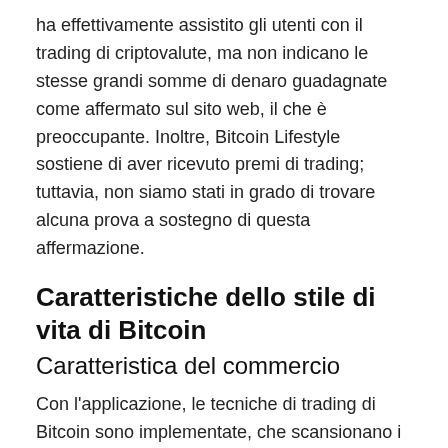ha effettivamente assistito gli utenti con il trading di criptovalute, ma non indicano le stesse grandi somme di denaro guadagnate come affermato sul sito web, il che è preoccupante. Inoltre, Bitcoin Lifestyle sostiene di aver ricevuto premi di trading; tuttavia, non siamo stati in grado di trovare alcuna prova a sostegno di questa affermazione.
Caratteristiche dello stile di vita di Bitcoin
Caratteristica del commercio
Con l'applicazione, le tecniche di trading di Bitcoin sono implementate, che scansionano i mercati delle criptovalute e generano scambi redditizi come risultato. La redditività di Bitcoin Lifestyle dipende da una serie di fattori, tra cui la quantità di capitale investito, il livello